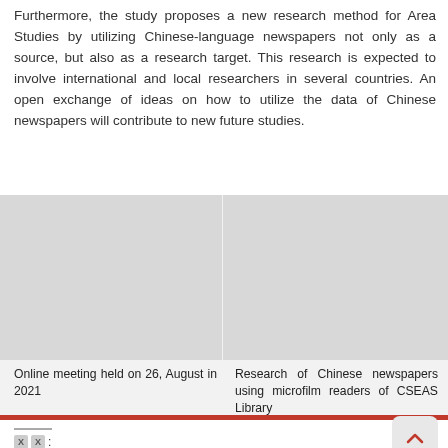Furthermore, the study proposes a new research method for Area Studies by utilizing Chinese-language newspapers not only as a source, but also as a research target. This research is expected to involve international and local researchers in several countries. An open exchange of ideas on how to utilize the data of Chinese newspapers will contribute to new future studies.
[Figure (photo): Two side-by-side image placeholders (light gray rectangles). Left image: Online meeting held on 26, August in 2021. Right image: Research of Chinese newspapers using microfilm readers of CSEAS Library.]
Online meeting held on 26, August in 2021
Research of Chinese newspapers using microfilm readers of CSEAS Library
XX: